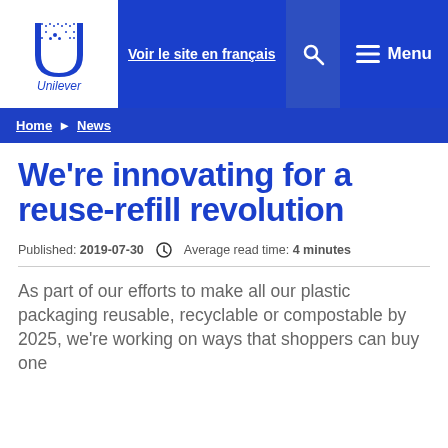[Figure (logo): Unilever logo - U symbol in blue with 'Unilever' text below]
Voir le site en français   🔍   ☰ Menu
Home ▶ News
We're innovating for a reuse-refill revolution
Published: 2019-07-30   🕐 Average read time: 4 minutes
As part of our efforts to make all our plastic packaging reusable, recyclable or compostable by 2025, we're working on ways that shoppers can buy one